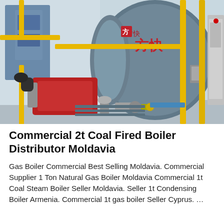[Figure (photo): Industrial gas-fired boiler (Chinese brand, marked 方快) with red burner unit, yellow safety railings, metal piping, and a control cabinet. The machine is large, cylindrical, blue-grey in color, set inside a factory/boiler room.]
Commercial 2t Coal Fired Boiler Distributor Moldavia
Gas Boiler Commercial Best Selling Moldavia. Commercial Supplier 1 Ton Natural Gas Boiler Moldavia Commercial 1t Coal Steam Boiler Seller Moldavia. Seller 1t Condensing Boiler Armenia. Commercial 1t gas boiler Seller Cyprus. …